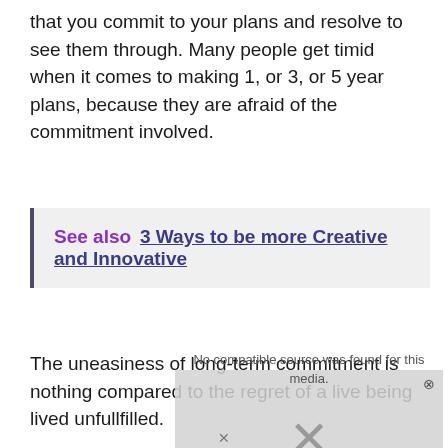that you commit to your plans and resolve to see them through. Many people get timid when it comes to making 1, or 3, or 5 year plans, because they are afraid of the commitment involved.
See also  3 Ways to be more Creative and Innovative
The uneasiness of long-term commitment is nothing compared to the regret of a live being lived unfullfilled.
[Figure (other): Media error overlay with X mark and text 'No compatible source was found for this media.' with close button.]